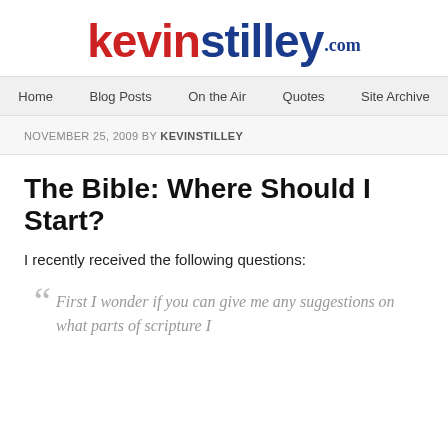[Figure (logo): kevinstilley.com logo with 'kevin' in red and 'stilley' in dark blue, bold sans-serif, with '.com' superscript in dark blue]
Home | Blog Posts | On the Air | Quotes | Site Archive
NOVEMBER 25, 2009 BY KEVINSTILLEY
The Bible: Where Should I Start?
I recently received the following questions:
“ First I wonder if you can give me any suggestions on what parts of scripture I